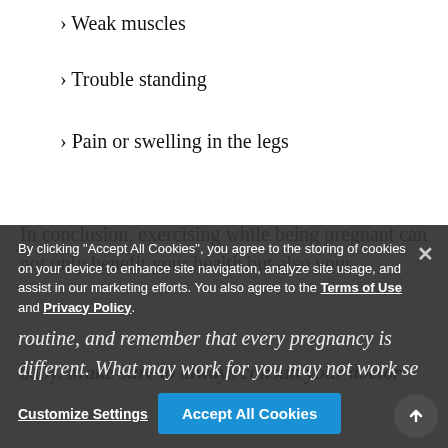› Weak muscles
› Trouble standing
› Pain or swelling in the legs
In conclusion, exercising while being pregnant can not only benefit your health but also your baby. Make sure to always consult your doctor before starting or changing your exercise routine, and remember that every pregnancy is different. What may work for you may not work for someone else.
By clicking “Accept All Cookies”, you agree to the storing of cookies on your device to enhance site navigation, analyze site usage, and assist in our marketing efforts. You also agree to the Terms of Use and Privacy Policy.